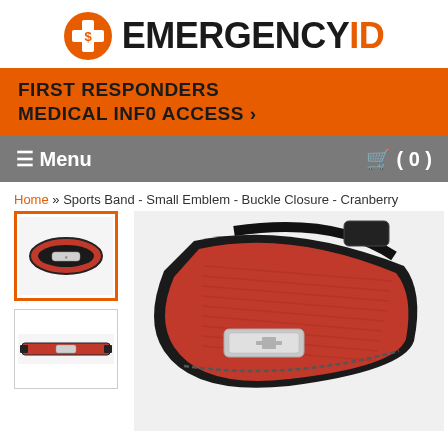[Figure (logo): EmergencyID logo with orange medical cross icon and bold text EMERGENCY in black and ID in orange]
FIRST RESPONDERS MEDICAL INFO ACCESS »
≡ Menu   🛒 (0)
Home » Sports Band - Small Emblem - Buckle Closure - Cranberry
[Figure (photo): Thumbnail of cranberry red sports medical ID bracelet with small emblem and buckle closure, selected with orange border]
[Figure (photo): Thumbnail of the same cranberry red sports medical ID bracelet laid flat showing the small emblem]
[Figure (photo): Main large product photo of cranberry red sports band medical ID bracelet with black nylon strap and silver small emblem, buckle closure visible]